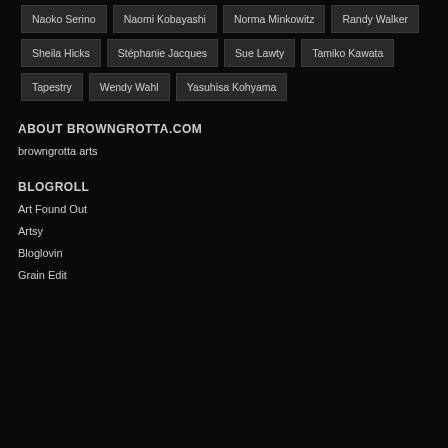Naoko Serino
Naomi Kobayashi
Norma Minkowitz
Randy Walker
Sheila Hicks
Stéphanie Jacques
Sue Lawty
Tamiko Kawata
Tapestry
Wendy Wahl
Yasuhisa Kohyama
ABOUT BROWNGROTTA.COM
browngrotta arts
BLOGROLL
Art Found Out
Artsy
Bloglovin
Grain Edit